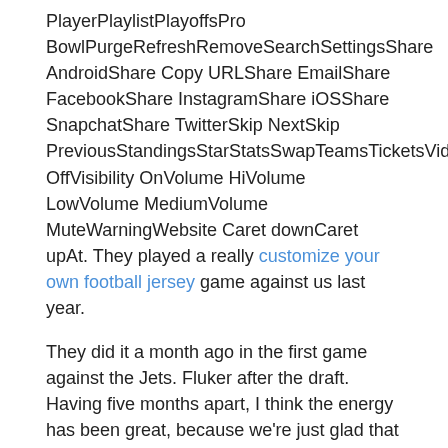PlayerPlaylistPlayoffsPro BowlPurgeRefreshRemoveSearchSettingsShare AndroidShare Copy URLShare EmailShare FacebookShare InstagramShare iOSShare SnapchatShare TwitterSkip NextSkip PreviousStandingsStarStatsSwapTeamsTicketsVideoVisibility OffVisibility OnVolume HiVolume LowVolume MediumVolume MuteWarningWebsite Caret downCaret upAt. They played a really customize your own football jersey game against us last year.
They did it a month ago in the first game against the Jets. Fluker after the draft. Having five months apart, I think the energy has been great, because we're just glad that everybody can be around each other – no matter who's there and when they were there. The Ravens' 6 defensive TDs tied for the second most in